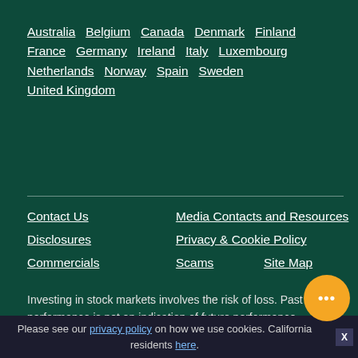Australia  Belgium  Canada  Denmark  Finland  France  Germany  Ireland  Italy  Luxembourg  Netherlands  Norway  Spain  Sweden  United Kingdom
Contact Us
Media Contacts and Resources
Disclosures
Privacy & Cookie Policy
Commercials
Scams
Site Map
Investing in stock markets involves the risk of loss. Past performance is not an indication of future performance.
©2022 Fisher Investments.
Please see our privacy policy on how we use cookies. California residents here.